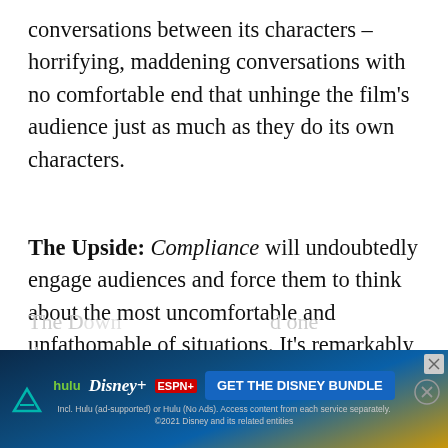conversations between its characters – horrifying, maddening conversations with no comfortable end that unhinge the film's audience just as much as they do its own characters.
The Upside: Compliance will undoubtedly engage audiences and force them to think about the most uncomfortable and unfathomable of situations. It's remarkably well-crafted, as it looks good and sounds good and features a tight, economical script.
[Figure (screenshot): Disney Bundle advertisement banner showing Hulu, Disney+, and ESPN+ logos with a 'GET THE DISNEY BUNDLE' call-to-action button and fine print about included services.]
The D[own] d one that a[...]